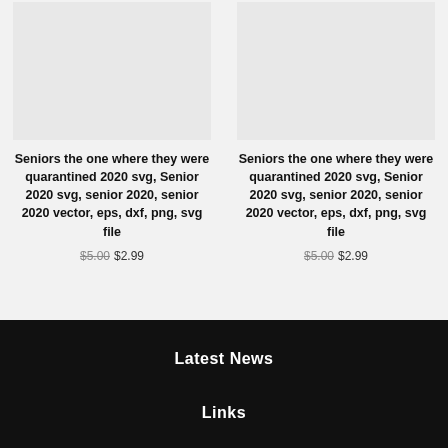[Figure (other): Product image placeholder (light grey box) for left product]
Seniors the one where they were quarantined 2020 svg, Senior 2020 svg, senior 2020, senior 2020 vector, eps, dxf, png, svg file
$5.00 $2.99
[Figure (other): Product image placeholder (light grey box) for right product]
Seniors the one where they were quarantined 2020 svg, Senior 2020 svg, senior 2020, senior 2020 vector, eps, dxf, png, svg file
$5.00 $2.99
Latest News
Links